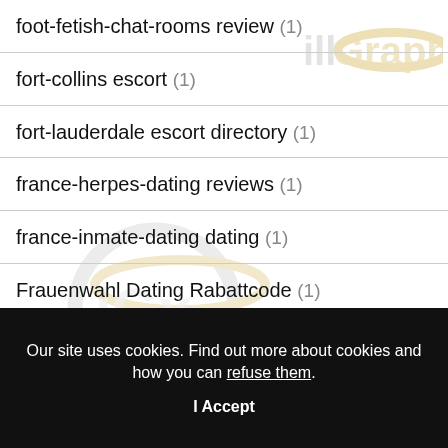foot-fetish-chat-rooms review (1)
fort-collins escort (1)
fort-lauderdale escort directory (1)
france-herpes-dating reviews (1)
france-inmate-dating dating (1)
Frauenwahl Dating Rabattcode (1)
Our site uses cookies. Find out more about cookies and how you can refuse them.
I Accept